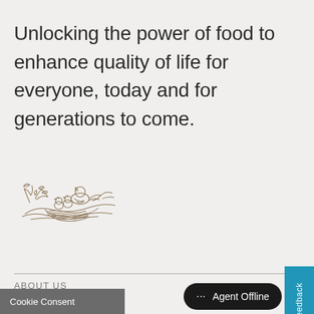Unlocking the power of food to enhance quality of life for everyone, today and for generations to come.
[Figure (logo): Nestlé bird's nest logo — outline illustration of a mother bird with chicks in a nest with branches]
ABOUT US
History
Nestlé in Oceania
Our factories & offices
porate Business Principles